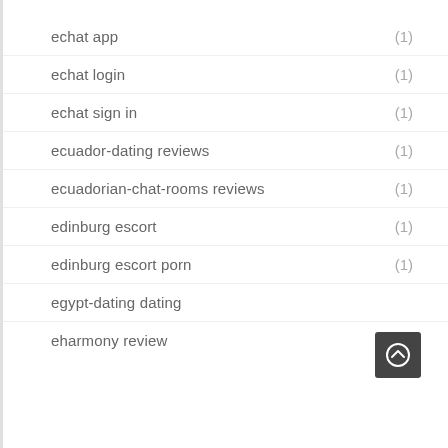echat app (1)
echat login (1)
echat sign in (1)
ecuador-dating reviews (1)
ecuadorian-chat-rooms reviews (1)
edinburg escort (1)
edinburg escort porn (1)
egypt-dating dating
eharmony review (1)